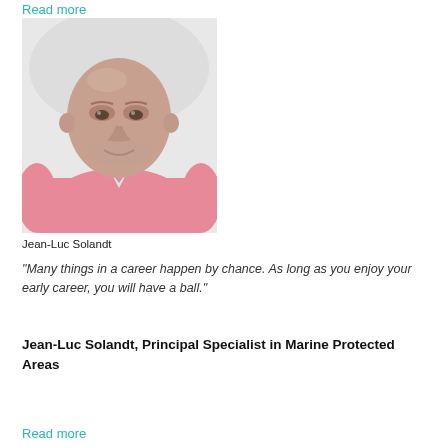Read more
[Figure (photo): Portrait photo of Jean-Luc Solandt, a bald man wearing a pink shirt, photographed against a white background]
Jean-Luc Solandt
"Many things in a career happen by chance. As long as you enjoy your early career, you will have a ball."
Jean-Luc Solandt, Principal Specialist in Marine Protected Areas
Read more